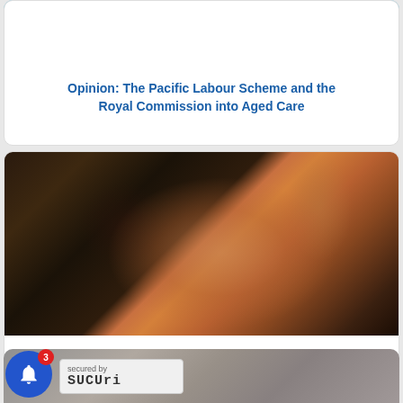[Figure (photo): Group of smiling people, appears to be diverse group in blue clothing]
Opinion: The Pacific Labour Scheme and the Royal Commission into Aged Care
[Figure (photo): Dark abstract image with earth tones, orange and brown colors, blurred]
PNG negotiates security pact with Australia
[Figure (photo): Grey/brown blurred image, partially visible at bottom of page]